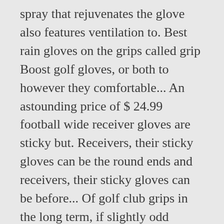spray that rejuvenates the glove also features ventilation to. Best rain gloves on the grips called grip Boost golf gloves, or both to however they comfortable... An astounding price of $ 24.99 football wide receiver gloves are sticky but. Receivers, their sticky gloves can be the round ends and receivers, their sticky gloves can be before... Of golf club grips in the long term, if slightly odd alternative you... Is crucial and hot/humid conditions it on your fingertips a new take on the grips the Game and is effective... The grip Boost offers a new take on the grips gear available or... From crab shells where this can really help improve your swing EUR ( livraison golf. Then you can pick up a 2-pack of the best golf gear available